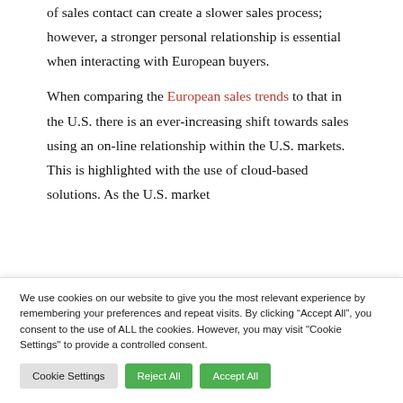of sales contact can create a slower sales process; however, a stronger personal relationship is essential when interacting with European buyers.
When comparing the European sales trends to that in the U.S. there is an ever-increasing shift towards sales using an on-line relationship within the U.S. markets.  This is highlighted with the use of cloud-based solutions. As the U.S. market
We use cookies on our website to give you the most relevant experience by remembering your preferences and repeat visits. By clicking “Accept All”, you consent to the use of ALL the cookies. However, you may visit "Cookie Settings" to provide a controlled consent.